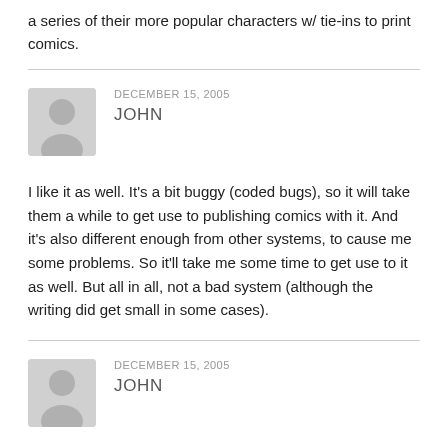a series of their more popular characters w/ tie-ins to print comics.
DECEMBER 15, 2005
JOHN
I like it as well. It's a bit buggy (coded bugs), so it will take them a while to get use to publishing comics with it. And it's also different enough from other systems, to cause me some problems. So it'll take me some time to get use to it as well. But all in all, not a bad system (although the writing did get small in some cases).
DECEMBER 15, 2005
JOHN
I hope your wrong on all counts, because I'd like to see the big